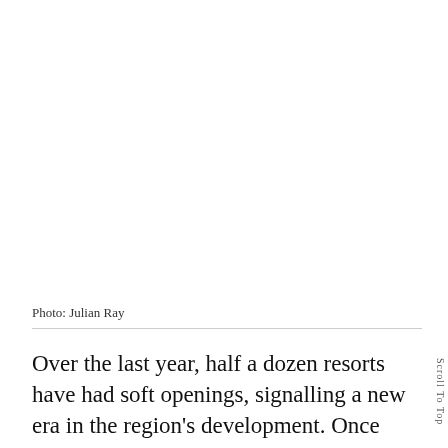Photo: Julian Ray
Over the last year, half a dozen resorts have had soft openings, signalling a new era in the region's development. Once vital in sea trade routes but with a past of smuggling and piracy,